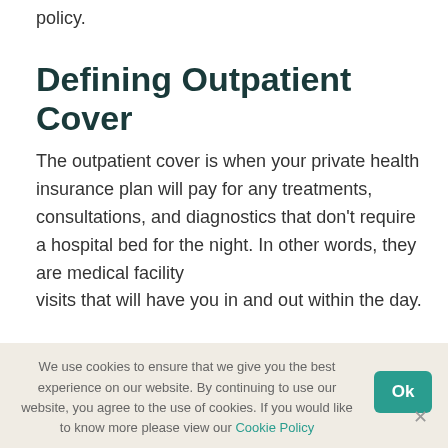policy.
Defining Outpatient Cover
The outpatient cover is when your private health insurance plan will pay for any treatments, consultations, and diagnostics that don't require a hospital bed for the night. In other words, they are medical facility visits that will have you in and out within the day.
Examples of outpatient cover include private
We use cookies to ensure that we give you the best experience on our website. By continuing to use our website, you agree to the use of cookies. If you would like to know more please view our Cookie Policy